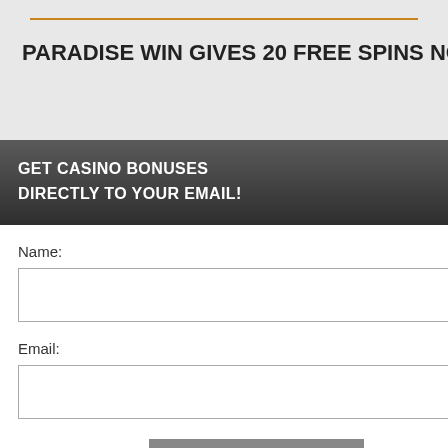[Figure (screenshot): A website page showing a casino bonus article titled 'PARADISE WIN GIVES 20 FREE SPINS NO' with a modal popup overlay for subscribing to casino bonuses via email. The modal has a dark header 'GET CASINO BONUSES DIRECTLY TO YOUR EMAIL!' with name and email input fields, a Submit button, and a privacy note. Behind the modal is article text about a no deposit bonus and a black cookie consent banner with a yellow button. Bottom text mentions country restrictions.]
PARADISE WIN GIVES 20 FREE SPINS NO
s a exclusive no deposit sign up a new account and PW to get 20 free spins no
no deposit with the bonus
perience, we use Using this site, kie & privacy policy.
GET CASINO BONUSES DIRECTLY TO YOUR EMAIL!
Name:
Email:
Submit
By subscribing you are certifying that you have reviewed and accepted our updated Privacy and Cookie policy.
or countries: Costa Rica, Croatia, Cyprus, Finland, Norway, New Zealand, Peru, Poland,